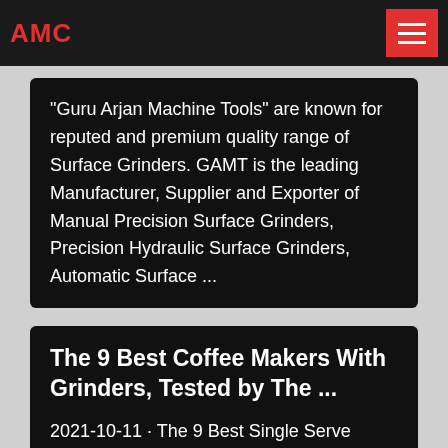AMC
"Guru Arjan Machine Tools" are known for reputed and premium quality range of Surface Grinders. GAMT is the leading Manufacturer, Supplier and Exporter of Manual Precision Surface Grinders, Precision Hydraulic Surface Grinders, Automatic Surface ...
The 9 Best Coffee Makers With Grinders, Tested by The ...
2021-10-11 · The 9 Best Single Serve Coffee Makers in 2021. Final Verdict. The Cuisinart Grind & Brew 12-Cup Coffee Maker ( view at Amazon) has everything you could want in a drip